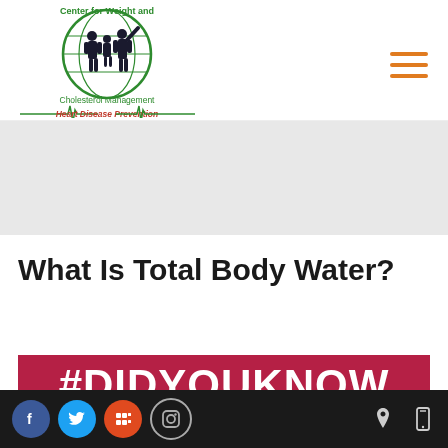[Figure (logo): Center for Weight and Cholesterol Management – Heart Disease Prevention logo with circular green emblem and family silhouette]
[Figure (illustration): Orange hamburger/menu icon (three horizontal lines) in top right]
[Figure (illustration): Gray banner/hero image area below navigation]
What Is Total Body Water?
[Figure (illustration): Red/crimson banner with white bold text '#DIDYOUKNOW' partially visible]
Social media icons: Facebook, Twitter, Google Store, Instagram; location and mobile icons on right